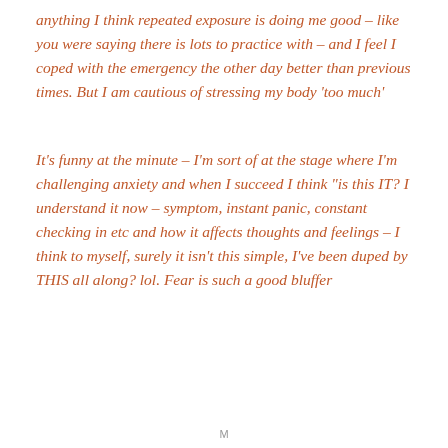anything I think repeated exposure is doing me good – like you were saying there is lots to practice with – and I feel I coped with the emergency the other day better than previous times. But I am cautious of stressing my body 'too much'
It's funny at the minute – I'm sort of at the stage where I'm challenging anxiety and when I succeed I think "is this IT? I understand it now – symptom, instant panic, constant checking in etc and how it affects thoughts and feelings – I think to myself, surely it isn't this simple, I've been duped by THIS all along? lol. Fear is such a good bluffer
M